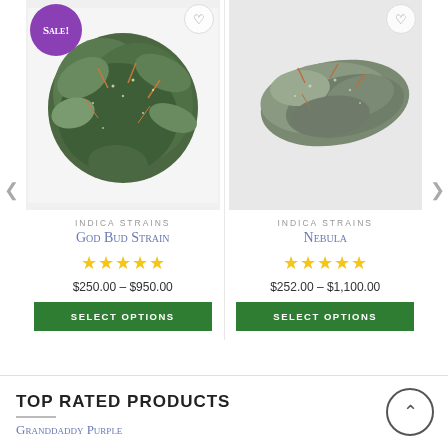[Figure (photo): Cannabis bud (God Bud Strain) on white background with purple SALE! badge]
INDICA STRAINS
God Bud Strain
★★★★★
$250.00 – $950.00
SELECT OPTIONS
[Figure (photo): Cannabis bud (Nebula) on grey background]
INDICA STRAINS
Nebula
★★★★★
$252.00 – $1,100.00
SELECT OPTIONS
TOP RATED PRODUCTS
Granddaddy Purple